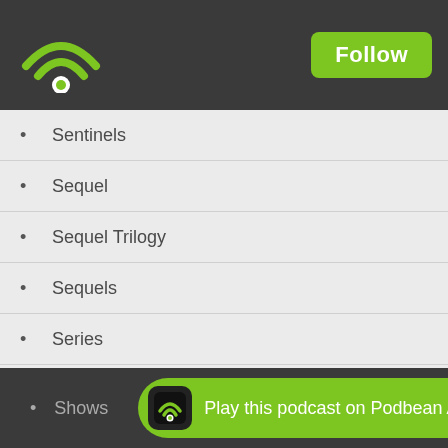Podbean podcast app header with Follow button
Sentinels
Sequel
Sequel Trilogy
Sequels
Series
Shadowcat
Sherlock
Short Documentary
Showbiz
Shows
Play this podcast on Podbean App